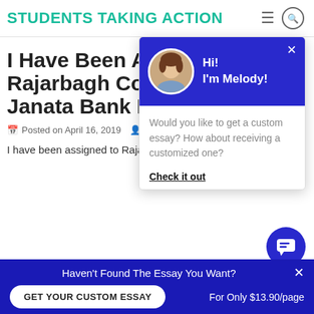STUDENTS TAKING ACTION
I Have Been Assigned Rajarbagh Corporate Branch Janata Bank Limited
Posted on April 16, 2019
I have been assigned to Rajarbagh Corporate Branch Janata Bank Li...
[Figure (screenshot): Chat popup overlay with avatar of Melody, greeting 'Hi! I'm Melody!', message 'Would you like to get a custom essay? How about receiving a customized one?', and 'Check it out' link]
Haven't Found The Essay You Want?
GET YOUR CUSTOM ESSAY   For Only $13.90/page